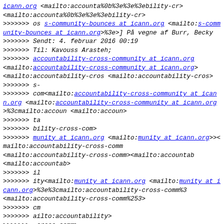Email thread content with quoted email headers and encoded mailto links related to ICANN accountability cross-community mailing list.